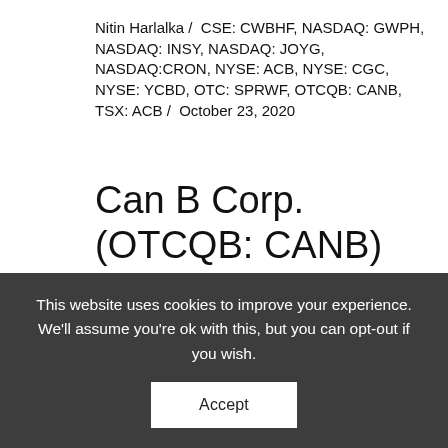Nitin Harlalka /  CSE: CWBHF, NASDAQ: GWPH, NASDAQ: INSY, NASDAQ: JOYG, NASDAQ:CRON, NYSE: ACB, NYSE: CGC, NYSE: YCBD, OTC: SPRWF, OTCQB: CANB, TSX: ACB /  October 23, 2020
Can B Corp. (OTCQB: CANB) Launches In Conjunction With Dr. Karl Zarse ImmuneX2, A Physician-Developed Proprietary Super Immune Boosting AM/PM
This website uses cookies to improve your experience. We'll assume you're ok with this, but you can opt-out if you wish.